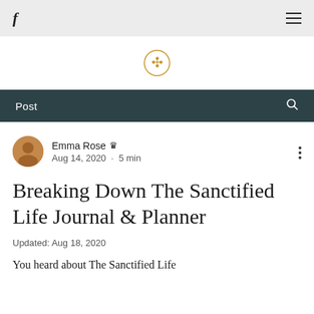f ≡
[Figure (logo): Circular logo icon with a cross-like ornamental symbol in gold/amber color]
Post 🔍
Emma Rose 👑
Aug 14, 2020 · 5 min
Breaking Down The Sanctified Life Journal & Planner
Updated: Aug 18, 2020
You heard about The Sanctified Life